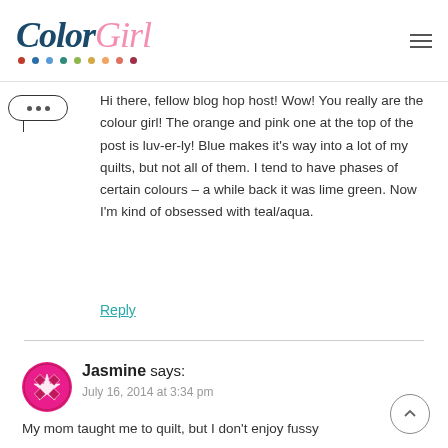ColorGirl
Hi there, fellow blog hop host! Wow! You really are the colour girl! The orange and pink one at the top of the post is luv-er-ly! Blue makes it's way into a lot of my quilts, but not all of them. I tend to have phases of certain colours – a while back it was lime green. Now I'm kind of obsessed with teal/aqua.
Reply
Jasmine says:
July 16, 2014 at 3:34 pm
My mom taught me to quilt, but I don't enjoy fussy